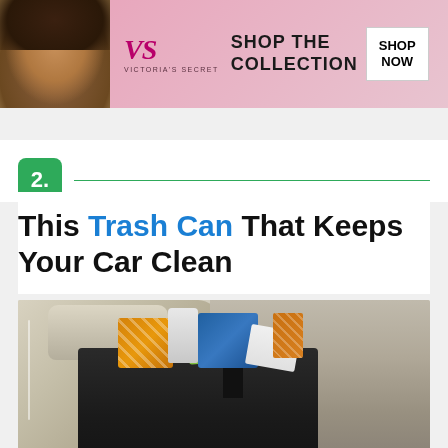[Figure (photo): Victoria's Secret advertisement banner showing a woman model on the left, VS logo and script in the center, 'SHOP THE COLLECTION' text, and a 'SHOP NOW' button on the right, pink background]
This Trash Can That Keeps Your Car Clean
[Figure (photo): Photo of a black car trash bag/organizer hanging from a car seat headrest, filled with various items including orange boxes with stripes, a white bottle, blue bag, and other trash items. The car interior shows beige leather seats.]